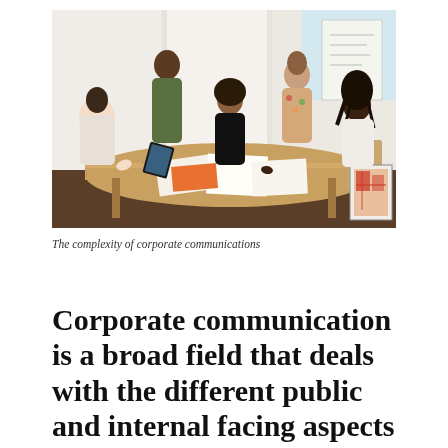[Figure (photo): Five women gathered around a wooden table in a bright office setting, looking at documents and a tablet. Papers, notebooks, and an orange folder are spread on the table. A whiteboard and a colorful painting are visible in the background.]
The complexity of corporate communications
Corporate communication is a broad field that deals with the different public and internal facing aspects of a company. It